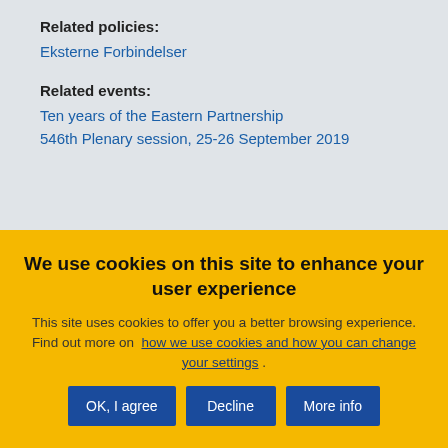Related policies:
Eksterne Forbindelser
Related events:
Ten years of the Eastern Partnership
546th Plenary session, 25-26 September 2019
We use cookies on this site to enhance your user experience
This site uses cookies to offer you a better browsing experience. Find out more on how we use cookies and how you can change your settings .